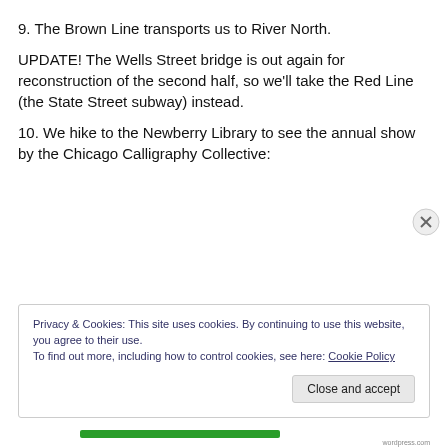9. The Brown Line transports us to River North.
UPDATE! The Wells Street bridge is out again for reconstruction of the second half, so we’ll take the Red Line (the State Street subway) instead.
10. We hike to the Newberry Library to see the annual show by the Chicago Calligraphy Collective:
Privacy & Cookies: This site uses cookies. By continuing to use this website, you agree to their use.
To find out more, including how to control cookies, see here: Cookie Policy